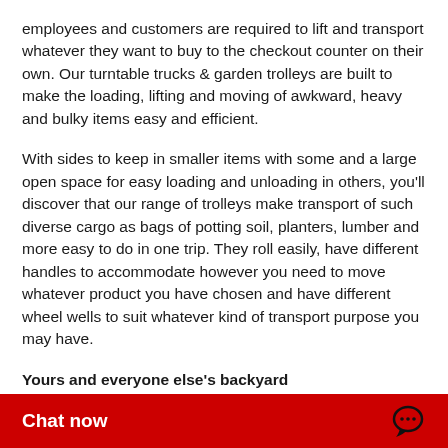employees and customers are required to lift and transport whatever they want to buy to the checkout counter on their own. Our turntable trucks & garden trolleys are built to make the loading, lifting and moving of awkward, heavy and bulky items easy and efficient.
With sides to keep in smaller items with some and a large open space for easy loading and unloading in others, you'll discover that our range of trolleys make transport of such diverse cargo as bags of potting soil, planters, lumber and more easy to do in one trip. They roll easily, have different handles to accommodate however you need to move whatever product you have chosen and have different wheel wells to suit whatever kind of transport purpose you may have.
Yours and everyone else's backyard
These are very sturdy